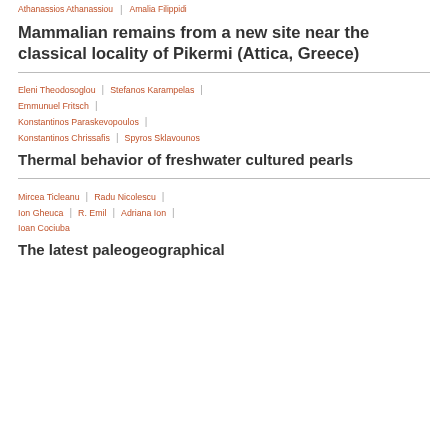Athanassios Athanassiou | Amalia Filippidi
Mammalian remains from a new site near the classical locality of Pikermi (Attica, Greece)
Eleni Theodosoglou | Stefanos Karampelas | Emmunuel Fritsch | Konstantinos Paraskevopoulos | Konstantinos Chrissafis | Spyros Sklavounos
Thermal behavior of freshwater cultured pearls
Mircea Ticleanu | Radu Nicolescu | Ion Gheuca | R. Emil | Adriana Ion | Ioan Cociuba
The latest paleogeographical